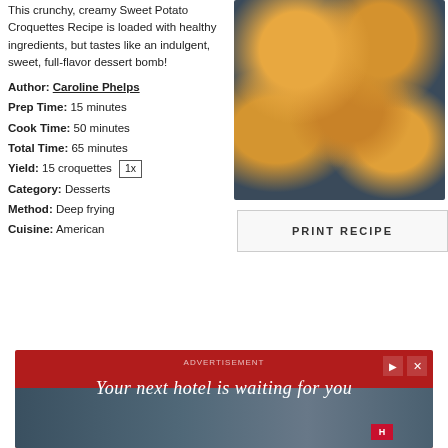This crunchy, creamy Sweet Potato Croquettes Recipe is loaded with healthy ingredients, but tastes like an indulgent, sweet, full-flavor dessert bomb!
Author: Caroline Phelps
Prep Time: 15 minutes
Cook Time: 50 minutes
Total Time: 65 minutes
Yield: 15 croquettes 1x
Category: Desserts
Method: Deep frying
Cuisine: American
[Figure (photo): Overhead photo of golden-brown breaded sweet potato croquettes on a dark surface]
PRINT RECIPE
[Figure (photo): Advertisement banner: Your next hotel is waiting for you]